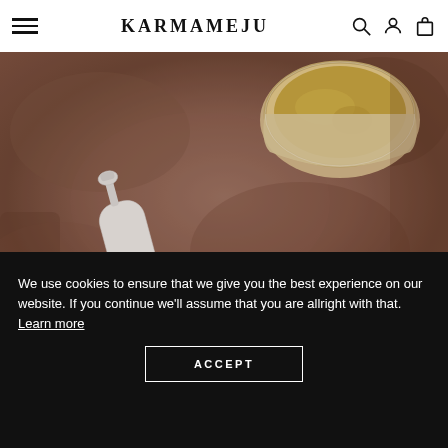KARMAMEJU
[Figure (photo): Karmameju skincare products on a brownish stone surface: a white pump bottle labeled '02 KARMAMEJU BARE Aloe Vera Cleansing Lotion' lying on its side, and an open round container with yellow/gold balm content in the upper right.]
We use cookies to ensure that we give you the best experience on our website. If you continue we'll assume that you are allright with that. Learn more
ACCEPT